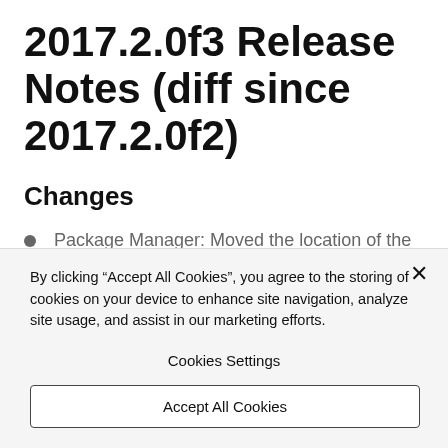2017.2.0f3 Release Notes (diff since 2017.2.0f2)
Changes
Package Manager: Moved the location of the
By clicking “Accept All Cookies”, you agree to the storing of cookies on your device to enhance site navigation, analyze site usage, and assist in our marketing efforts.
Cookies Settings
Accept All Cookies